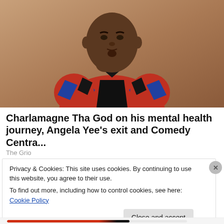[Figure (photo): Portrait photo of Charlamagne Tha God wearing a colorful red and blue patterned jacket with black collar, against a tan/brown background, hand raised to chin in thoughtful pose]
Charlamagne Tha God on his mental health journey, Angela Yee's exit and Comedy Centra...
The Grio
Privacy & Cookies: This site uses cookies. By continuing to use this website, you agree to their use.
To find out more, including how to control cookies, see here: Cookie Policy
Close and accept